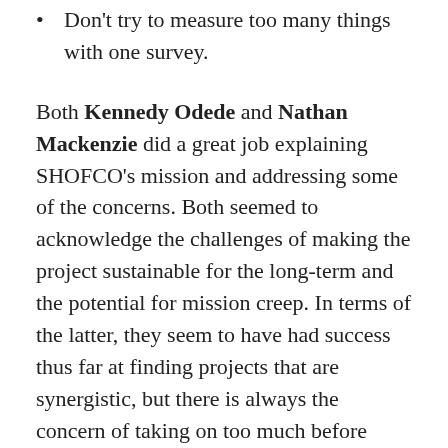Don't try to measure too many things with one survey.
Both Kennedy Odede and Nathan Mackenzie did a great job explaining SHOFCO's mission and addressing some of the concerns. Both seemed to acknowledge the challenges of making the project sustainable for the long-term and the potential for mission creep. In terms of the latter, they seem to have had success thus far at finding projects that are synergistic, but there is always the concern of taking on too much before perfecting the rest. And, as Conner noted, it may be harder to measure progress in one area when one is moving in multiple directions at the same time.
In terms of involvement with the Wesleyan Community, there seemed to be a general consensus that this was a